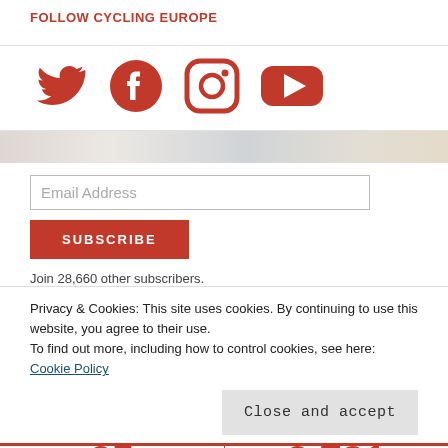FOLLOW CYCLING EUROPE
[Figure (illustration): Social media icons: Twitter, Facebook, Instagram, YouTube in red]
[Figure (photo): Blurred background image of cycling event]
Email Address
SUBSCRIBE
Join 28,660 other subscribers.
Privacy & Cookies: This site uses cookies. By continuing to use this website, you agree to their use.
To find out more, including how to control cookies, see here: Cookie Policy
Close and accept